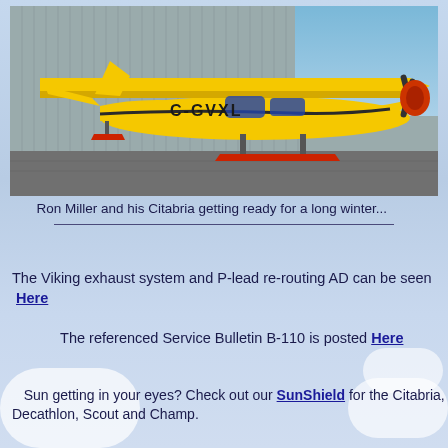[Figure (photo): Yellow Citabria aircraft with registration C-GVXL on ski landing gear parked in front of a metal hangar]
Ron Miller and his Citabria getting ready for a long winter...
The Viking exhaust system and P-lead re-routing AD can be seen Here
The referenced Service Bulletin B-110 is posted Here
Sun getting in your eyes? Check out our SunShield for the Citabria, Decathlon, Scout and Champ.